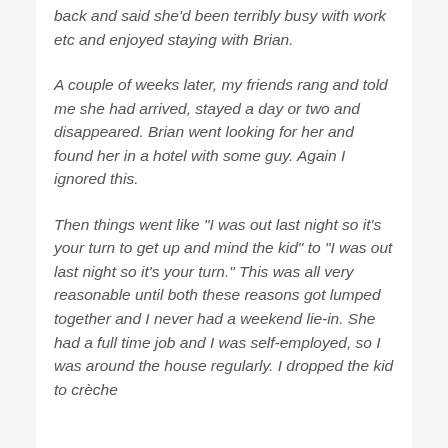back and said she'd been terribly busy with work etc and enjoyed staying with Brian.
A couple of weeks later, my friends rang and told me she had arrived, stayed a day or two and disappeared. Brian went looking for her and found her in a hotel with some guy. Again I ignored this.
Then things went like "I was out last night so it's your turn to get up and mind the kid" to "I was out last night so it's your turn." This was all very reasonable until both these reasons got lumped together and I never had a weekend lie-in. She had a full time job and I was self-employed, so I was around the house regularly. I dropped the kid to crèche